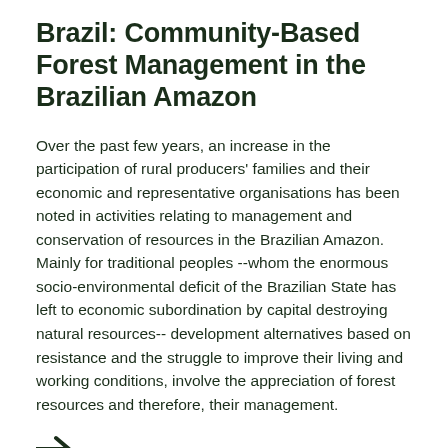Brazil: Community-Based Forest Management in the Brazilian Amazon
Over the past few years, an increase in the participation of rural producers' families and their economic and representative organisations has been noted in activities relating to management and conservation of resources in the Brazilian Amazon. Mainly for traditional peoples --whom the enormous socio-environmental deficit of the Brazilian State has left to economic subordination by capital destroying natural resources-- development alternatives based on resistance and the struggle to improve their living and working conditions, involve the appreciation of forest resources and therefore, their management.
[Figure (other): Right-pointing arrow navigation symbol]